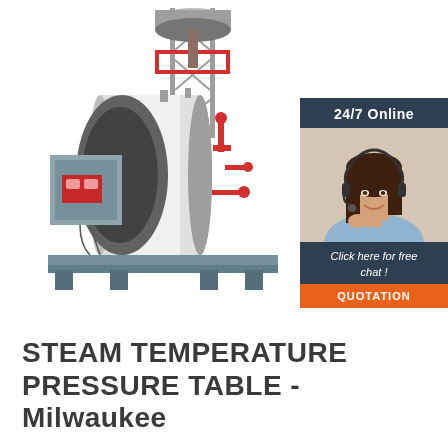[Figure (photo): Industrial steam boiler system with cylindrical tank, red piping, control panel on left side, and tall steel framework tower with storage tank on top. Mounted on a steel base frame.]
[Figure (photo): Advertisement panel: dark slate-blue header reading '24/7 Online', photo of smiling woman with headset (customer service representative), dark blue footer reading 'Click here for free chat!', orange button labeled 'QUOTATION']
STEAM TEMPERATURE PRESSURE TABLE - Milwaukee